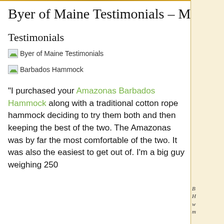Byer of Maine Testimonials – M
Testimonials
[Figure (illustration): Broken image placeholder labeled 'Byer of Maine Testimonials']
[Figure (illustration): Broken image placeholder labeled 'Barbados Hammock']
"I purchased your Amazonas Barbados Hammock along with a traditional cotton rope hammock deciding to try them both and then keeping the best of the two. The Amazonas was by far the most comfortable of the two. It was also the easiest to get out of. I'm a big guy weighing 250